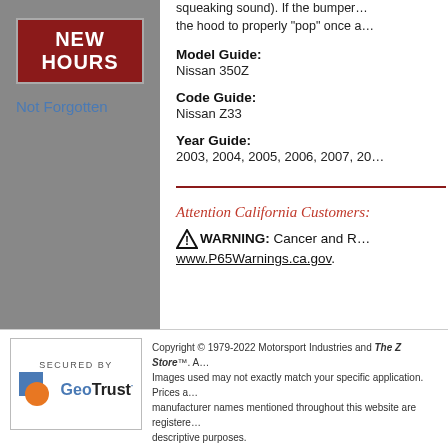[Figure (other): Left sidebar with gray background, NEW HOURS red button, and Not Forgotten link]
squeaking sound). If the bumper... the hood to properly "pop" once a...
Model Guide:
Nissan 350Z
Code Guide:
Nissan Z33
Year Guide:
2003, 2004, 2005, 2006, 2007, 20...
Attention California Customers:
WARNING: Cancer and R... www.P65Warnings.ca.gov.
[Figure (logo): GeoTrust Secured By logo with blue square and orange circle]
Copyright © 1979-2022 Motorsport Industries and The Z Store™. A... Images used may not exactly match your specific application. Prices a... manufacturer names mentioned throughout this website are registere... descriptive purposes.